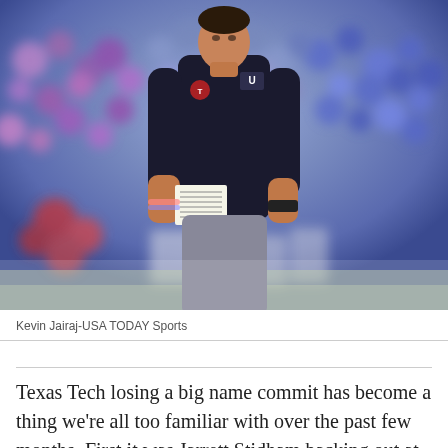[Figure (photo): A football coach wearing a dark Under Armour long-sleeve shirt and gray pants, walking on a field. He has a laminated play card tucked into his waistband. Blurred stadium crowd visible in the background.]
Kevin Jairaj-USA TODAY Sports
Texas Tech losing a big name commit has become a thing we're all too familiar with over the past few months. First it was Jarrett Stidham backing out at the